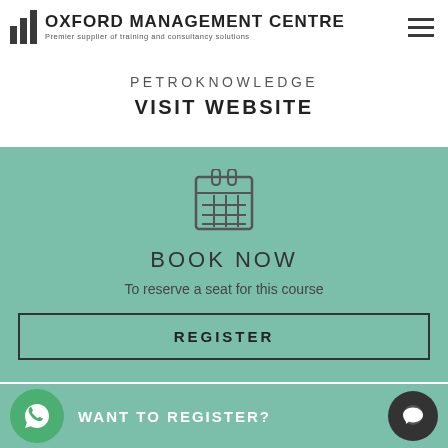[Figure (logo): Oxford Management Centre logo with vertical bar graph icon and tagline 'Premier supplier of training and consultancy solutions']
PETROKNOWLEDGE
VISIT WEBSITE
[Figure (infographic): Green booking section with calendar icon, BOOK NOW heading, 'To reserve a seat for this course' subtext, and REGISTER button]
WANT TO REGISTER?